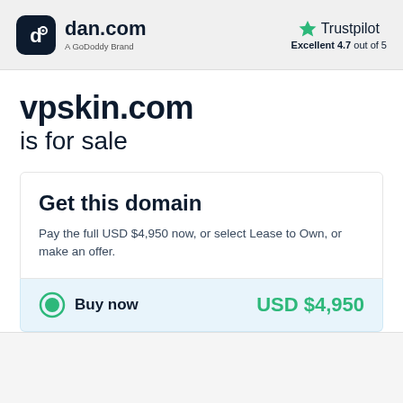dan.com — A GoDoddy Brand | Trustpilot Excellent 4.7 out of 5
vpskin.com is for sale
Get this domain
Pay the full USD $4,950 now, or select Lease to Own, or make an offer.
Buy now   USD $4,950